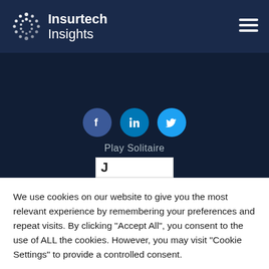[Figure (logo): Insurtech Insights logo with circular dot pattern and text on dark navy background]
[Figure (infographic): Dark section with Facebook, LinkedIn, and Twitter social media circle icons, Play Solitaire text, and a search bar showing 'J']
We use cookies on our website to give you the most relevant experience by remembering your preferences and repeat visits. By clicking "Accept All", you consent to the use of ALL the cookies. However, you may visit "Cookie Settings" to provide a controlled consent.
Cookie Settings
Accept All